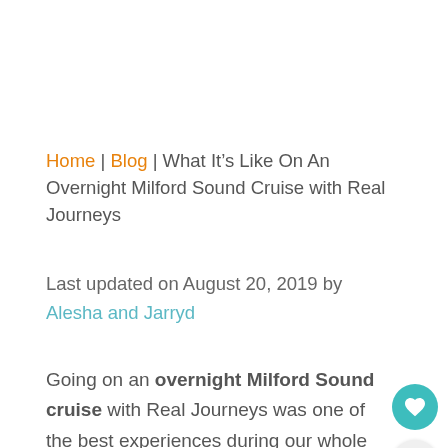Home | Blog | What It's Like On An Overnight Milford Sound Cruise with Real Journeys
Last updated on August 20, 2019 by Alesha and Jarryd
Going on an overnight Milford Sound cruise with Real Journeys was one of the best experiences during our whole time in New Zealand.